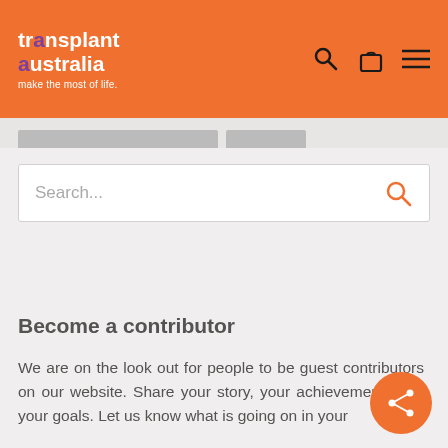transplant australia — make the most of life.
Search...
Become a contributor
We are on the look out for people to be guest contributors on our website. Share your story, your achievements and your goals. Let us know what is going on in your